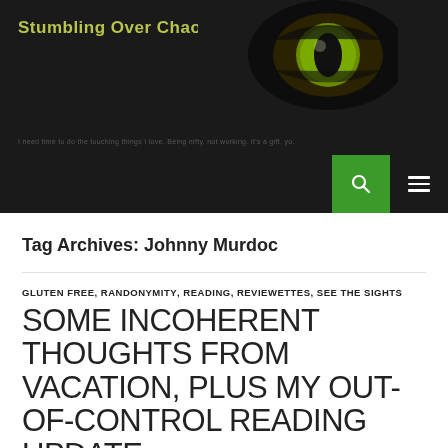Stumbling Over Chaos
I need time to do the touching things I love. Being nifty, not working. It's a gift, yo.
Tag Archives: Johnny Murdoc
GLUTEN FREE, RANDONYMITY, READING, REVIEWETTES, SEE THE SIGHTS
SOME INCOHERENT THOUGHTS FROM VACATION, PLUS MY OUT-OF-CONTROL READING UPDATE